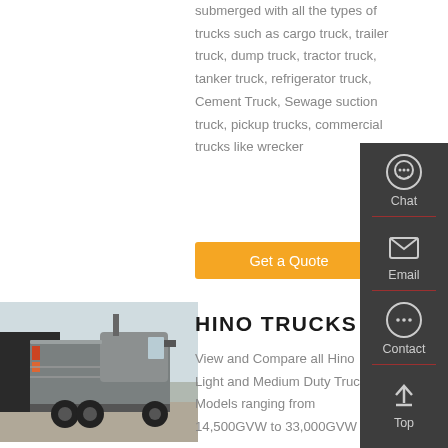submerged with all the types of trucks such as cargo truck, trailer truck, dump truck, tractor truck, tanker truck, refrigerator truck, Cement Truck, Sewage suction truck, pickup trucks, commercial trucks like wrecker
Get a Quote
[Figure (photo): Rear view of a Hino tractor truck in a yard with industrial buildings in background]
HINO TRUCKS
View and Compare all Hino Light and Medium Duty Trucks. Models ranging from 14,500GVW to 33,000GVW